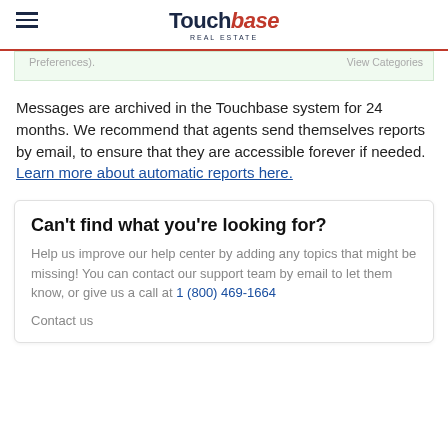Touchbase REAL ESTATE
Preferences).
Messages are archived in the Touchbase system for 24 months. We recommend that agents send themselves reports by email, to ensure that they are accessible forever if needed. Learn more about automatic reports here.
Can't find what you're looking for?
Help us improve our help center by adding any topics that might be missing! You can contact our support team by email to let them know, or give us a call at 1 (800) 469-1664
Contact us